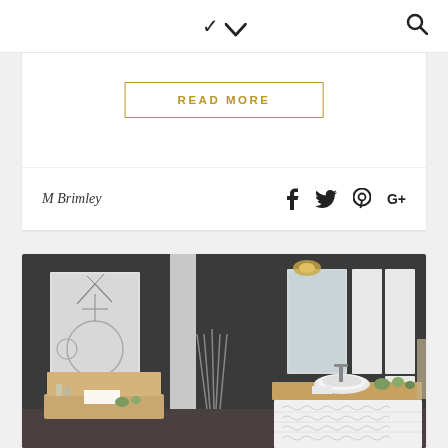chevron-down | search icon
READ MORE
M Brimley
[Figure (photo): Modern bathroom interior with dark charcoal walls, white cabinetry with textured fronts, a vessel sink on a wooden countertop, wall-mounted mirrors, vertical decorative element, and artwork on the left wall.]